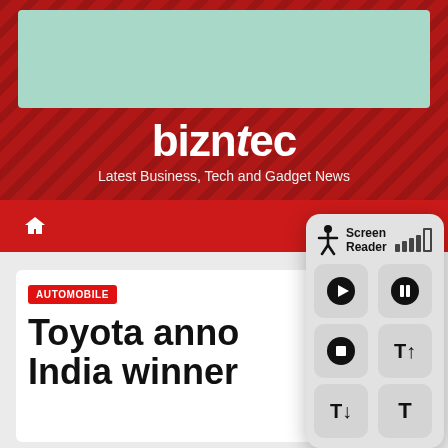[Figure (screenshot): Mint-green advertisement banner placeholder at top of webpage]
bizntec
Latest Business, Tech and Gadget News
[Figure (screenshot): Red navigation bar with home icon and hamburger menu]
[Figure (screenshot): Screen Reader accessibility widget panel with play, pause, stop, and text size controls, and signal strength bars]
AUTOMOBILE
Toyota anno India winner